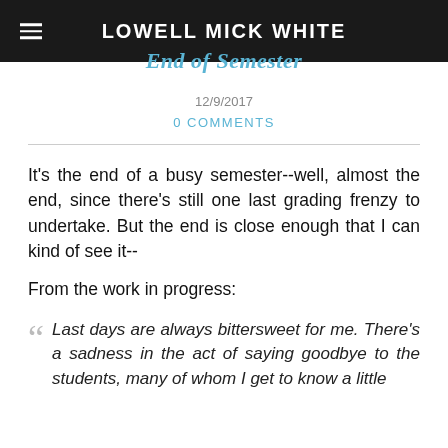LOWELL MICK WHITE
End of Semester
12/9/2017
0 COMMENTS
It's the end of a busy semester--well, almost the end, since there's still one last grading frenzy to undertake. But the end is close enough that I can kind of see it--
From the work in progress:
Last days are always bittersweet for me. There's a sadness in the act of saying goodbye to the students, many of whom I get to know a little